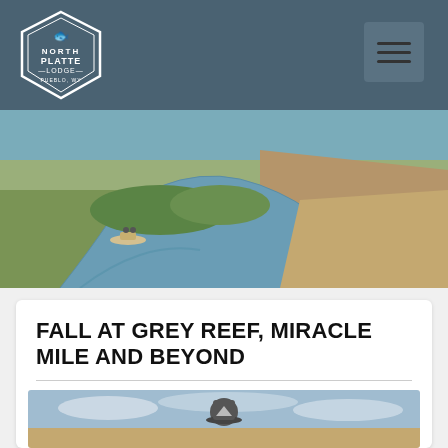North Platte Lodge
[Figure (photo): Aerial view of a winding river through green brush and arid landscape with a small fishing boat on the water]
FALL AT GREY REEF, MIRACLE MILE AND BEYOND
Posted on by hosting@thebarkfirm.com
[Figure (photo): Person standing outdoors wearing a hat against a blue cloudy sky and arid hillside background]